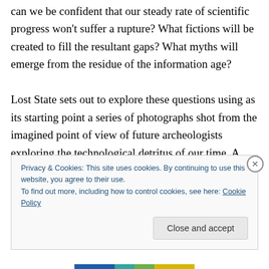can we be confident that our steady rate of scientific progress won't suffer a rupture? What fictions will be created to fill the resultant gaps? What myths will emerge from the residue of the information age?

Lost State sets out to explore these questions using as its starting point a series of photographs shot from the imagined point of view of future archeologists exploring the technological detritus of our time. A fractured speculative narrative alludes to the circumstances and significance of this discovery and invokes memories of
Privacy & Cookies: This site uses cookies. By continuing to use this website, you agree to their use.
To find out more, including how to control cookies, see here: Cookie Policy
Close and accept